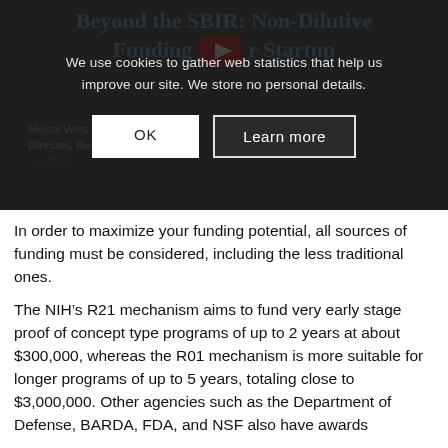[Figure (screenshot): Screenshot of a YouTube video titled 'Beyond the SBIR: Non-Dilutive Funding for Startup' with a cookie consent overlay showing OK and Learn more buttons. Partially visible below: speaker name Meytal Wats... Director, Bus... with date. Video background is dark gray.]
In order to maximize your funding potential, all sources of funding must be considered, including the less traditional ones.
The NIH's R21 mechanism aims to fund very early stage proof of concept type programs of up to 2 years at about $300,000, whereas the R01 mechanism is more suitable for longer programs of up to 5 years, totaling close to $3,000,000. Other agencies such as the Department of Defense, BARDA, FDA, and NSF also have awards